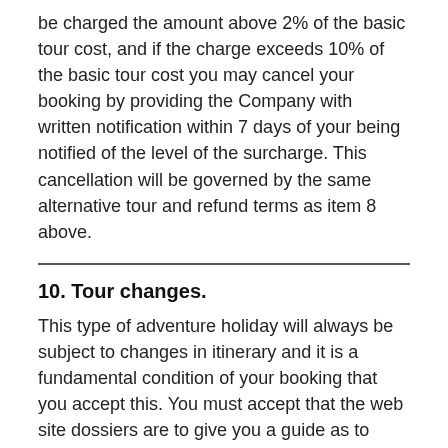be charged the amount above 2% of the basic tour cost, and if the charge exceeds 10% of the basic tour cost you may cancel your booking by providing the Company with written notification within 7 days of your being notified of the level of the surcharge. This cancellation will be governed by the same alternative tour and refund terms as item 8 above.
10. Tour changes.
This type of adventure holiday will always be subject to changes in itinerary and it is a fundamental condition of your booking that you accept this. You must accept that the web site dossiers are to give you a guide as to what to expect from your holiday but that there will still be considerable flexibility when on the tour. You will not be refunded for any services not utilised.